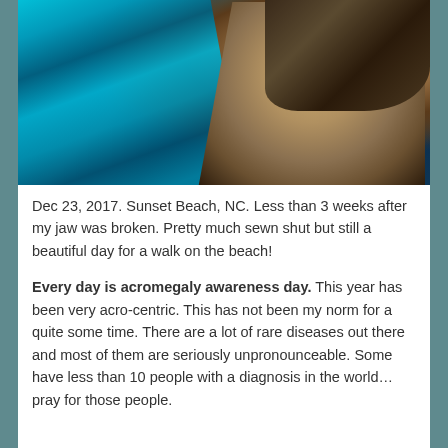[Figure (photo): A person smiling outdoors, wearing sunglasses, with bright blue feathers or a blue garment visible on the left side, and dark curly hair on the right.]
Dec 23, 2017. Sunset Beach, NC. Less than 3 weeks after my jaw was broken. Pretty much sewn shut but still a beautiful day for a walk on the beach!
Every day is acromegaly awareness day. This year has been very acro-centric. This has not been my norm for a quite some time. There are a lot of rare diseases out there and most of them are seriously unpronounceable. Some have less than 10 people with a diagnosis in the world… pray for those people.